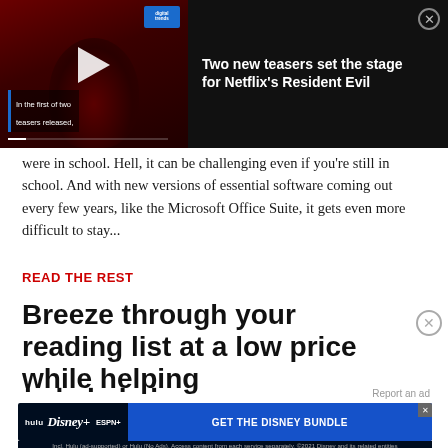[Figure (screenshot): Video player overlay banner with dark background showing a Resident Evil themed thumbnail with play button, Digital Trends badge, and subtitle text 'In the first of two teasers released,']
Two new teasers set the stage for Netflix's Resident Evil
were in school. Hell, it can be challenging even if you're still in school. And with new versions of essential software coming out every few years, like the Microsoft Office Suite, it gets even more difficult to stay...
READ THE REST
Breeze through your reading list at a low price while helping
Report an ad
[Figure (screenshot): Disney Bundle advertisement banner with Hulu, Disney+, ESPN+ logos and 'GET THE DISNEY BUNDLE' button. Fine print: Incl. Hulu (ad-supported) or Hulu (No Ads). Access content from each service separately. ©2021 Disney and its related entities]